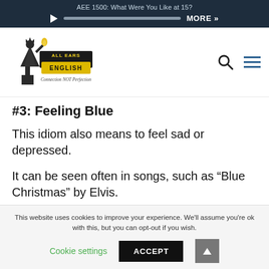AEE 1500: What Were You Like at 15?
[Figure (logo): All Ears English logo with Statue of Liberty illustration and tagline 'Connection NOT Perfection']
#3: Feeling Blue
This idiom also means to feel sad or depressed.
It can be seen often in songs, such as “Blue Christmas” by Elvis.
This website uses cookies to improve your experience. We'll assume you're ok with this, but you can opt-out if you wish.